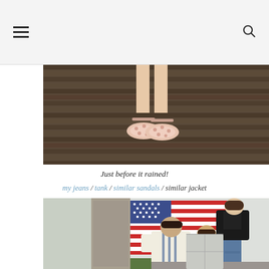navigation header with menu and search icons
[Figure (photo): Close-up of girl's feet wearing floral sandals on a wooden deck]
Just before it rained!
my jeans / tank / similar sandals / similar jacket
[Figure (photo): Woman and two girls standing in front of a barn with an American flag painted on it]